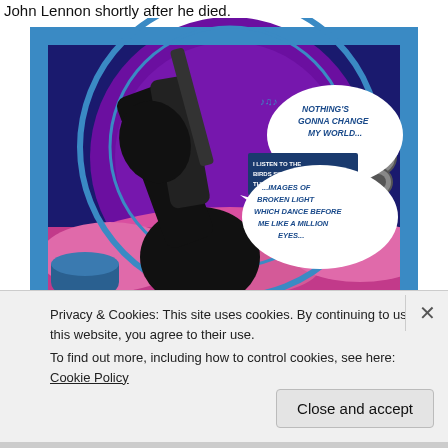John Lennon shortly after he died.
[Figure (illustration): Comic book panel showing a silhouetted figure holding a guitar against a purple and pink background with speech bubbles containing lyrics: 'Nothing's gonna change my world...' and '...images of broken light which dance before me like a million eyes...' and a caption box reading 'I listen to the birds sing before the guitar kicks in.']
Privacy & Cookies: This site uses cookies. By continuing to use this website, you agree to their use.
To find out more, including how to control cookies, see here: Cookie Policy
Close and accept